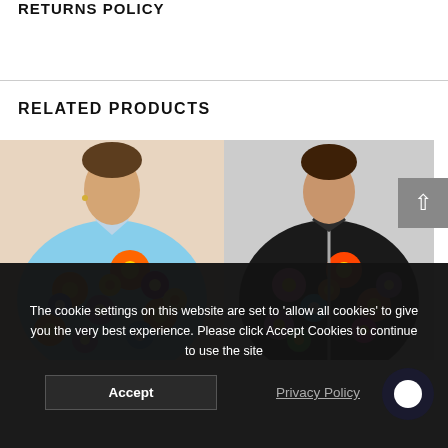RETURNS POLICY
RELATED PRODUCTS
[Figure (photo): Person wearing a colorful floral short-sleeve shirt with orange, purple, blue, and yellow flowers on a light background]
[Figure (photo): Person wearing a colorful floral zip-up top with orange, pink, blue, and purple flowers on a dark background]
The cookie settings on this website are set to 'allow all cookies' to give you the very best experience. Please click Accept Cookies to continue to use the site.
Accept
Privacy Policy